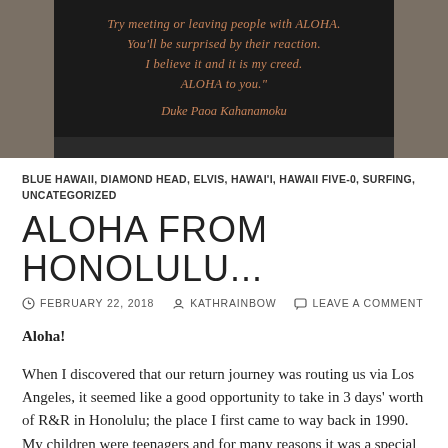[Figure (photo): Photo of a dark bronze plaque mounted in stone with orange/copper colored italic text reading a quote by Duke Paoa Kahanamoku about ALOHA]
BLUE HAWAII, DIAMOND HEAD, ELVIS, HAWAI'I, HAWAII FIVE-0, SURFING, UNCATEGORIZED
ALOHA FROM HONOLULU...
FEBRUARY 22, 2018   KATHRAINBOW   LEAVE A COMMENT
Aloha!
When I discovered that our return journey was routing us via Los Angeles, it seemed like a good opportunity to take in 3 days' worth of R&R in Honolulu; the place I first came to way back in 1990. My children were teenagers and for many reasons it was a special holiday. In the intervening years,